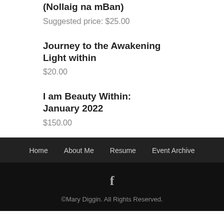(Nollaig na mBan)
Suggested price: $25.00
Journey to the Awakening Light within
$20.00
I am Beauty Within: January 2022
$150.00
Home   About Me   Resume   Event Archive
©Mary Diggin. All Rights Reserved.